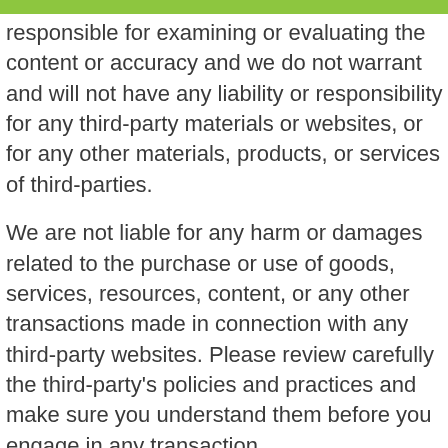responsible for examining or evaluating the content or accuracy and we do not warrant and will not have any liability or responsibility for any third-party materials or websites, or for any other materials, products, or services of third-parties.
We are not liable for any harm or damages related to the purchase or use of goods, services, resources, content, or any other transactions made in connection with any third-party websites. Please review carefully the third-party's policies and practices and make sure you understand them before you engage in any transaction.
Complaints, claims, concerns, or questions regarding